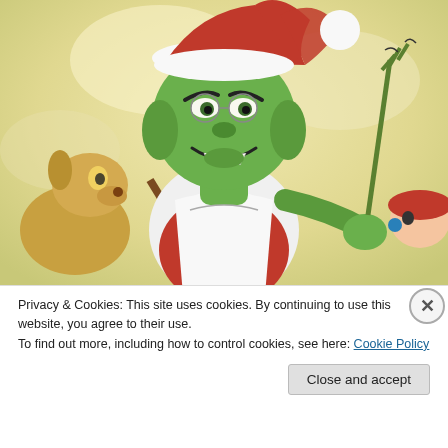[Figure (illustration): Cartoon illustration of the Grinch wearing a Santa hat and white apron, holding a shovel, with other cartoon characters (a dog and a girl) visible at the sides. The background is a pale yellowish-cream color.]
Privacy & Cookies: This site uses cookies. By continuing to use this website, you agree to their use.
To find out more, including how to control cookies, see here: Cookie Policy
Close and accept